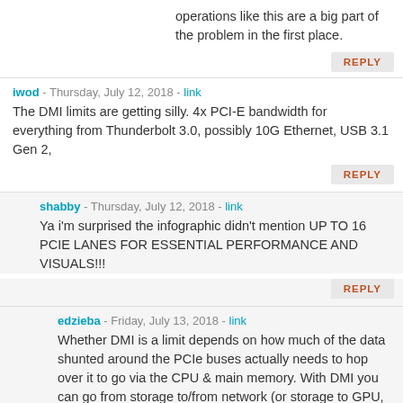operations like this are a big part of the problem in the first place.
REPLY
iwod - Thursday, July 12, 2018 - link
The DMI limits are getting silly. 4x PCI-E bandwidth for everything from Thunderbolt 3.0, possibly 10G Ethernet, USB 3.1 Gen 2,
REPLY
shabby - Thursday, July 12, 2018 - link
Ya i'm surprised the infographic didn't mention UP TO 16 PCIE LANES FOR ESSENTIAL PERFORMANCE AND VISUALS!!!
REPLY
edzieba - Friday, July 13, 2018 - link
Whether DMI is a limit depends on how much of the data shunted around the PCIe buses actually needs to hop over it to go via the CPU & main memory. With DMI you can go from storage to/from network (or storage to GPU, etc) just via the PCH without bottlenecking.
REPLY
TrevorH - Thursday, July 12, 2018 - link